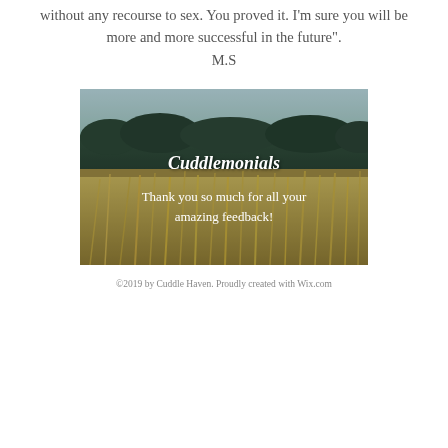It is possible to reach the bliss without any recourse to sex. You proved it. I'm sure you will be more and more successful in the future". M.S
[Figure (photo): Outdoor landscape photo with golden wheat grass in the foreground and dark green trees in the background under a light sky. White italic bold text reads 'Cuddlemonials' and below it 'Thank you so much for all your amazing feedback!']
©2019 by Cuddle Haven. Proudly created with Wix.com